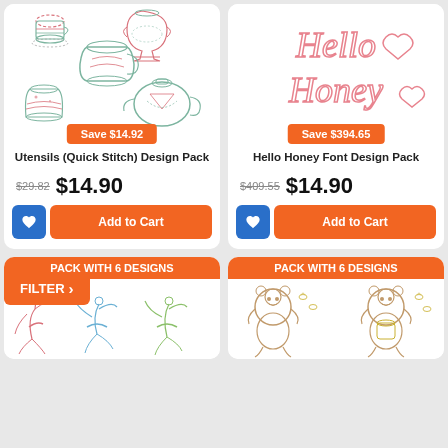[Figure (illustration): Tea cups and utensils embroidery design pack preview with Save $14.92 badge]
Save $14.92
Utensils (Quick Stitch) Design Pack
$29.82 $14.90
Add to Cart
[Figure (illustration): Hello Honey script font design with heart decoration and Save $394.65 badge]
Save $394.65
Hello Honey Font Design Pack
$409.55 $14.90
Add to Cart
FILTER >
PACK WITH 6 DESIGNS
[Figure (illustration): Ballet dancer outline embroidery designs]
PACK WITH 6 DESIGNS
[Figure (illustration): Bear characters embroidery designs]